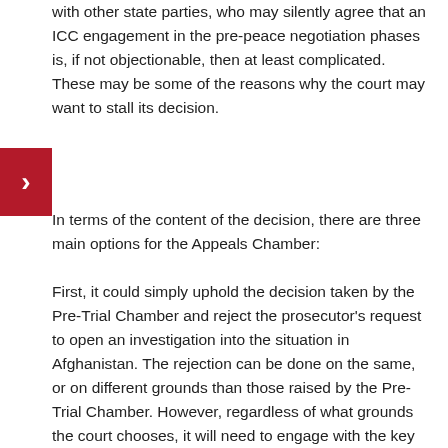with other state parties, who may silently agree that an ICC engagement in the pre-peace negotiation phases is, if not objectionable, then at least complicated. These may be some of the reasons why the court may want to stall its decision.
In terms of the content of the decision, there are three main options for the Appeals Chamber:
First, it could simply uphold the decision taken by the Pre-Trial Chamber and reject the prosecutor's request to open an investigation into the situation in Afghanistan. The rejection can be done on the same, or on different grounds than those raised by the Pre-Trial Chamber. However, regardless of what grounds the court chooses, it will need to engage with the key questions of whether Afghanistan is able and willing to prosecute nationally, and whether the Pre-Trial Chamber was right to conclude